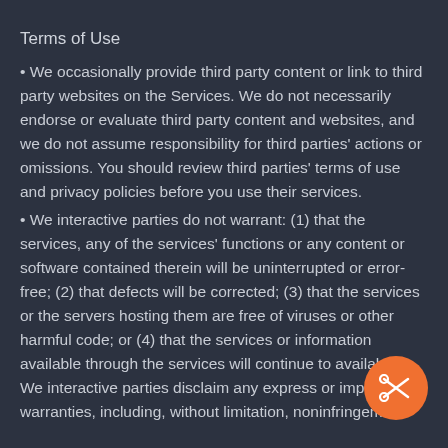Terms of Use
• We occasionally provide third party content or link to third party websites on the Services. We do not necessarily endorse or evaluate third party content and websites, and we do not assume responsibility for third parties' actions or omissions. You should review third parties' terms of use and privacy policies before you use their services.
• We interactive parties do not warrant: (1) that the services, any of the services' functions or any content or software contained therein will be uninterrupted or error-free; (2) that defects will be corrected; (3) that the services or the servers hosting them are free of viruses or other harmful code; or (4) that the services or information available through the services will continue to available. We interactive parties disclaim any express or implied warranties, including, without limitation, noninfringement